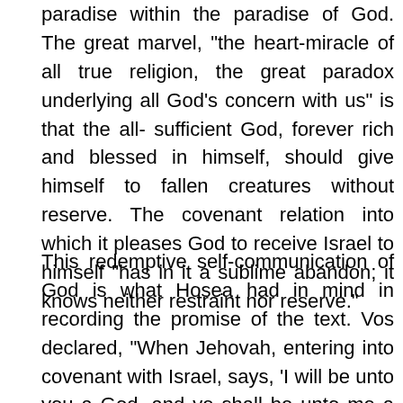paradise within the paradise of God. The great marvel, “the heart-miracle of all true religion, the great paradox underlying all God’s concern with us” is that the all-sufficient God, forever rich and blessed in himself, should give himself to fallen creatures without reserve. The covenant relation into which it pleases God to receive Israel to himself “has in it a sublime abandon; it knows neither restraint nor reserve.”
This redemptive self-communication of God is what Hosea had in mind in recording the promise of the text. Vos declared, “When Jehovah, entering into covenant with Israel, says, ‘I will be unto you a God, and ye shall be unto me a people,’ this means infinitely more than the trite idea: henceforth ye shall worship me and I will cultivate you. It is the mutual surrender of person to person.”